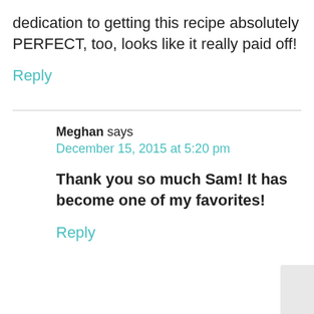dedication to getting this recipe absolutely PERFECT, too, looks like it really paid off!
Reply
Meghan says
December 15, 2015 at 5:20 pm
Thank you so much Sam! It has become one of my favorites!
Reply